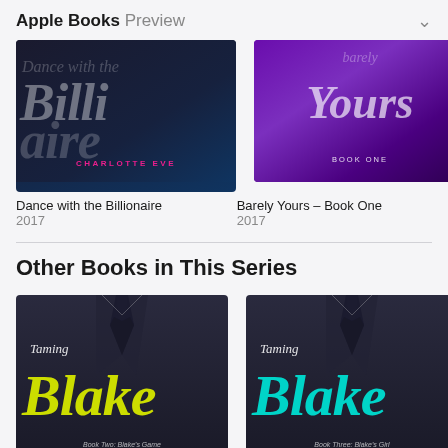Apple Books Preview
[Figure (photo): Book cover: Dance with the Billionaire by Charlotte Eve, dark blue cover with script title]
Dance with the Billionaire
2017
[Figure (photo): Book cover: Barely Yours - Book One, purple gradient cover with script title]
Barely Yours – Book One
2017
Other Books in This Series
[Figure (photo): Book cover: Taming Blake Book Two: Blake's Game, dark suit cover with yellow script Blake]
[Figure (photo): Book cover: Taming Blake Book Three: Blake's Girl, dark suit cover with teal script Blake]